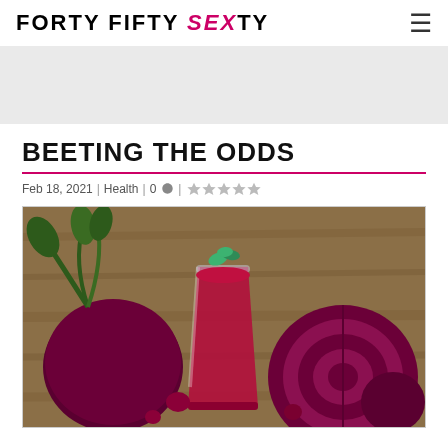FORTY FIFTY SEXTY
BEETING THE ODDS
Feb 18, 2021 | Health | 0 💬 | ★☆☆☆☆
[Figure (photo): Beet juice in a glass surrounded by whole and halved beets with green leaves, on a wooden surface]